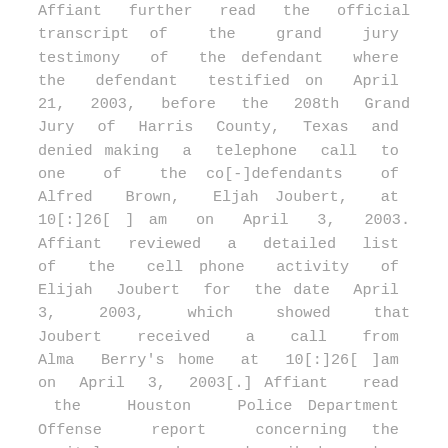Affiant further read the official transcript of the grand jury testimony of the defendant where the defendant testified on April 21, 2003, before the 208th Grand Jury of Harris County, Texas and denied making a telephone call to one of the co[-]defendants of Alfred Brown, Eljah Joubert, at 10[:]26[ ] am on April 3, 2003. Affiant reviewed a detailed list of the cell phone activity of Elijah Joubert for the date April 3, 2003, which showed that Joubert received a call from Alma Berry's home at 10[:]26[ ]am on April 3, 2003[.] Affiant read the Houston Police Department Offense report concerning the capital murder described above where Alma Berry said that on April 3, 2003, the defendant worked as a health